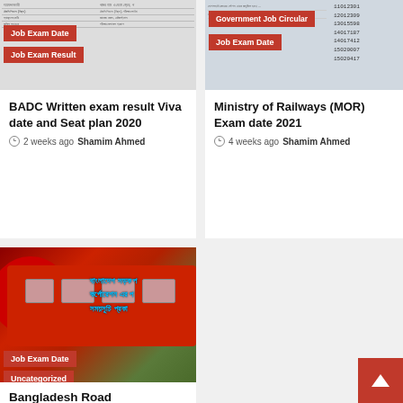[Figure (screenshot): Card with table image showing Job Exam Date and Job Exam Result tags]
BADC Written exam result Viva date and Seat plan 2020
2 weeks ago  Shamim Ahmed
[Figure (screenshot): Card with numbers table image showing Government Job Circular and Job Exam Date tags]
Ministry of Railways (MOR) Exam date 2021
4 weeks ago  Shamim Ahmed
[Figure (photo): Red buses with Bangladesh Road Corporation text, Job Exam Date and Uncategorized tags]
Bangladesh Road